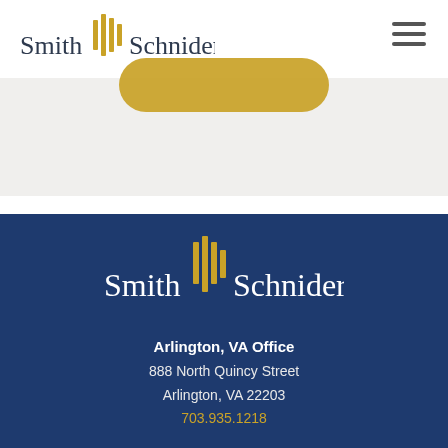[Figure (logo): Smith Schnider logo with gold vertical bar chart lines icon, shown in header on white background]
[Figure (other): Gold rounded pill/button shape below header, partially visible]
[Figure (logo): Smith Schnider logo with gold vertical bar chart lines icon, shown in navy blue footer]
Arlington, VA Office
888 North Quincy Street
Arlington, VA 22203
703.935.1218